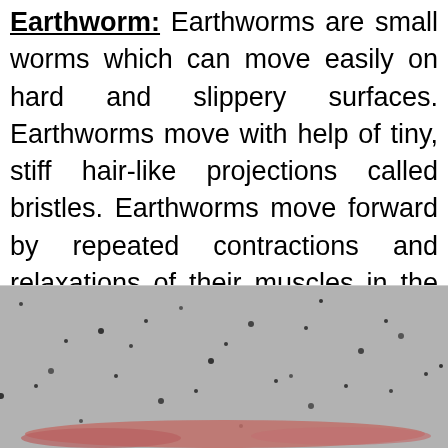Earthworm: Earthworms are small worms which can move easily on hard and slippery surfaces. Earthworms move with help of tiny, stiff hair-like projections called bristles. Earthworms move forward by repeated contractions and relaxations of their muscles in the skin. A slimy substance secreted by the earthworm helps in its movement. Hence, earthworms make small moves using muscles alone.
[Figure (photo): Close-up photograph of an earthworm on a gritty/sandy surface, showing the worm's pink/reddish body against grey granular soil.]